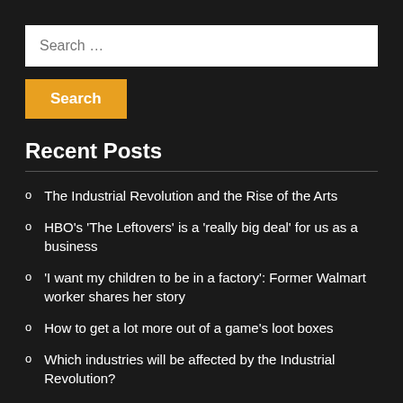Search …
Search
Recent Posts
The Industrial Revolution and the Rise of the Arts
HBO's 'The Leftovers' is a 'really big deal' for us as a business
'I want my children to be in a factory': Former Walmart worker shares her story
How to get a lot more out of a game's loot boxes
Which industries will be affected by the Industrial Revolution?
Tags